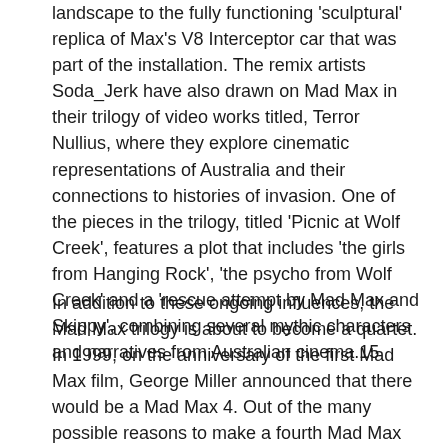landscape to the fully functioning 'sculptural' replica of Max's V8 Interceptor car that was part of the installation. The remix artists Soda_Jerk have also drawn on Mad Max in their trilogy of video works titled, Terror Nullius, where they explore cinematic representations of Australia and their connections to histories of invasion. One of the pieces in the trilogy, titled 'Picnic at Wolf Creek', features a plot that includes 'the girls from Hanging Rock', 'the psycho from Wolf Creek' and a 'rescue attempt by Mad Max and Skippy', combining several mythic characters and narratives from Australian cinema.15
In addition to these ongoing influences, the Mad Max trilogy is about to become a quartet. In 1999, on the anniversary of the first Mad Max film, George Miller announced that there would be a Mad Max 4. Out of the many possible reasons to make a fourth Mad Max film, Miller has spoken about CGI and the way in which these technical developments would make the Mad Max films 'a whole new ball game'. 16 However, just as there were